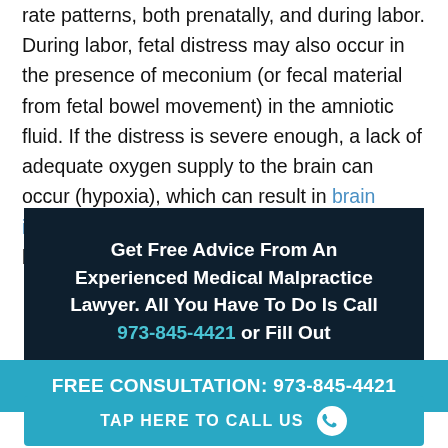rate patterns, both prenatally, and during labor. During labor, fetal distress may also occur in the presence of meconium (or fecal material from fetal bowel movement) in the amniotic fluid. If the distress is severe enough, a lack of adequate oxygen supply to the brain can occur (hypoxia), which can result in brain injury or other serious conditions which become apparent after birth.
Get Free Advice From An Experienced Medical Malpractice Lawyer. All You Have To Do Is Call 973-845-4421 or Fill Out
FREE CONSULTATION: 973-845-4421
TAP HERE TO CALL US